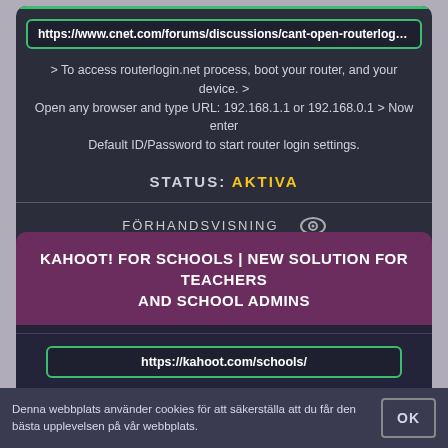https://www.cnet.com/forums/discussions/cant-open-routerlogin-net-pag
> To access routerlogin.net process, boot your router, and your device. > Open any browser and type URL: 192.168.1.1 or 192.168.0.1 > Now enter Default ID/Password to start router login settings.
STATUS: AKTIVA
FÖRHANDSVISNING
LADDA NER
KAHOOT! FOR SCHOOLS | NEW SOLUTION FOR TEACHERS AND SCHOOL ADMINS
https://kahoot.com/schools/
Log in. Video. Watch video. Remote training - Time zone locations. Connect
Denna webbplats använder cookies för att säkerställa att du får den bästa upplevelsen på vår webbplats.
OK